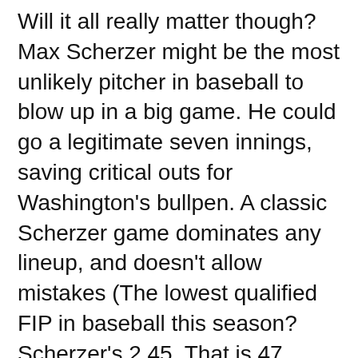Will it all really matter though? Max Scherzer might be the most unlikely pitcher in baseball to blow up in a big game. He could go a legitimate seven innings, saving critical outs for Washington's bullpen. A classic Scherzer game dominates any lineup, and doesn't allow mistakes (The lowest qualified FIP in baseball this season? Scherzer's 2.45. That is 47 points lower than his ERA).
Scherzer isn't going to give up a back-breaking home run or blow up in an inning. Plus, the Nationals had the 10th-besth wRC+ in high leverage situations this season. The Brewers were ironically seventh, but they have to face